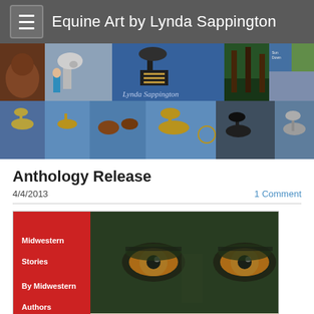Equine Art by Lynda Sappington
[Figure (photo): Banner collage of equine art sculptures, book covers, and artwork by Lynda Sappington with signature text overlaid]
Anthology Release
4/4/2013
1 Comment
[Figure (photo): Book cover collage showing 'FLIGHTS' anthology with close-up eyes on cover and other book covers including 'Shoo Fly Shoo']